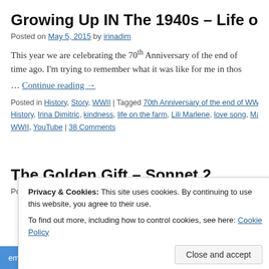Growing Up IN The 1940s – Life on the Fa…
Posted on May 5, 2015 by irinadim
This year we are celebrating the 70th Anniversary of the end of … time ago. I'm trying to remember what it was like for me in thos…
… Continue reading →
Posted in History, Story, WWII | Tagged 70th Anniversary of the end of WWII, History, Irina Dimitric, kindness, life on the farm, Lili Marlene, love song, Marl… WWII, YouTube | 38 Comments
The Golden Gift – Sonnet 2
Posted on April 23, 2014 by irinadim
Privacy & Cookies: This site uses cookies. By continuing to use this website, you agree to their use.
To find out more, including how to control cookies, see here: Cookie Policy
Close and accept
email with more privacy.